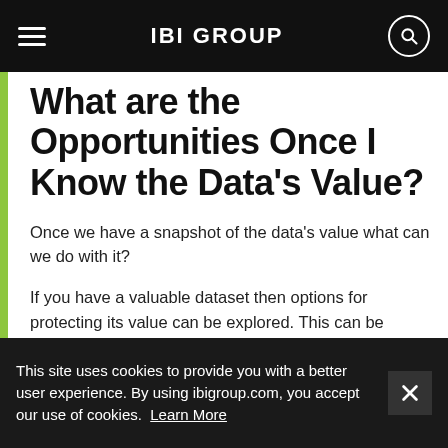IBI GROUP
What are the Opportunities Once I Know the Data's Value?
Once we have a snapshot of the data's value what can we do with it?
If you have a valuable dataset then options for protecting its value can be explored. This can be through enhanced security, improved infrastructure or even insurance. In terms of protecting data integrity, we can also use a positive valuation to justify investing in maintenance spending, perhaps through
This site uses cookies to provide you with a better user experience. By using ibigroup.com, you accept our use of cookies. Learn More